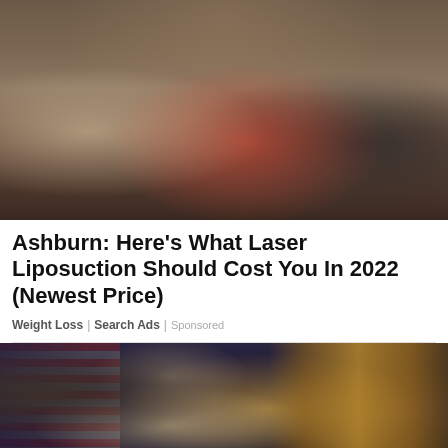[Figure (photo): Doctor in white lab coat with stethoscope standing in a medical office, consulting with two overweight patients seated on an exam table. Medical anatomy charts visible on the wall in background.]
Ashburn: Here's What Laser Liposuction Should Cost You In 2022 (Newest Price)
Weight Loss | Search Ads | Sponsored
[Figure (photo): President Joe Biden speaking at a podium in the White House East Room. An American flag is visible to the left, and gold curtains are in the background along with the Presidential seal.]